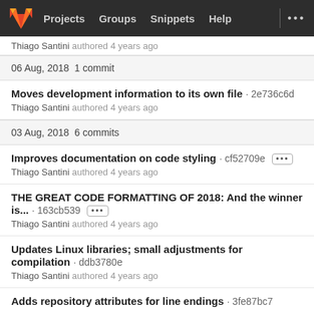Projects  Groups  Snippets  Help
Thiago Santini authored 4 years ago
06 Aug, 2018  1 commit
Moves development information to its own file · 2e736c6d
Thiago Santini authored 4 years ago
03 Aug, 2018  6 commits
Improves documentation on code styling · cf52709e
Thiago Santini authored 4 years ago
THE GREAT CODE FORMATTING OF 2018: And the winner is... · 163cb539
Thiago Santini authored 4 years ago
Updates Linux libraries; small adjustments for compilation · ddb3780e
Thiago Santini authored 4 years ago
Adds repository attributes for line endings · 3fe87bc7